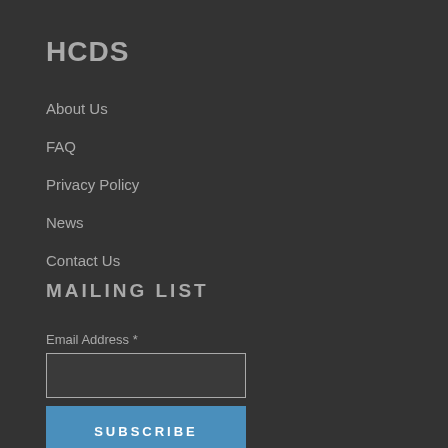HCDS
About Us
FAQ
Privacy Policy
News
Contact Us
MAILING LIST
Email Address *
SUBSCRIBE